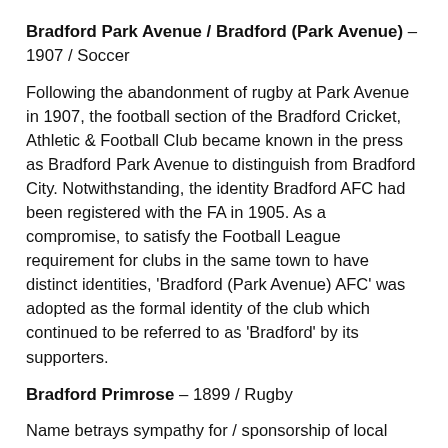Bradford Park Avenue / Bradford (Park Avenue) – 1907 / Soccer
Following the abandonment of rugby at Park Avenue in 1907, the football section of the Bradford Cricket, Athletic & Football Club became known in the press as Bradford Park Avenue to distinguish from Bradford City. Notwithstanding, the identity Bradford AFC had been registered with the FA in 1905. As a compromise, to satisfy the Football League requirement for clubs in the same town to have distinct identities, 'Bradford (Park Avenue) AFC' was adopted as the formal identity of the club which continued to be referred to as 'Bradford' by its supporters.
Bradford Primrose – 1899 / Rugby
Name betrays sympathy for / sponsorship of local